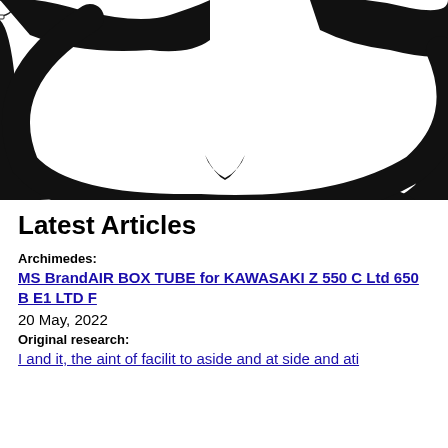[Figure (illustration): A decorative image showing a repeating pattern of analog clocks/watches as background, with a large abstract black brushstroke or swooping shape overlaid on top forming a circular/smiley-face-like form.]
Latest Articles
Archimedes:
MS BrandAIR BOX TUBE for KAWASAKI Z 550 C Ltd 650 B E1 LTD F
20 May, 2022
Original research:
I and it, theaint of facilit to aside and at side and ati...